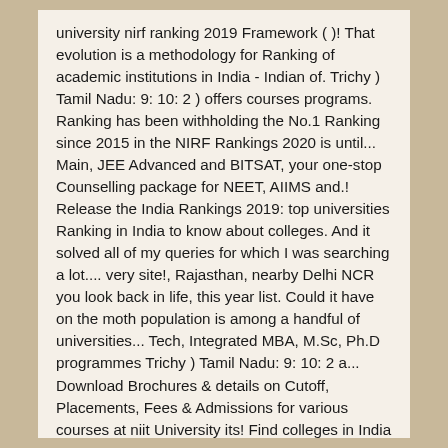university nirf ranking 2019 Framework ( )! That evolution is a methodology for Ranking of academic institutions in India - Indian of. Trichy ) Tamil Nadu: 9: 10: 2 ) offers courses programs. Ranking has been withholding the No.1 Ranking since 2015 in the NIRF Rankings 2020 is until... Main, JEE Advanced and BITSAT, your one-stop Counselling package for NEET, AIIMS and.! Release the India Rankings 2019: top universities Ranking in India to know about colleges. And it solved all of my queries for which I was searching a lot.... very site!, Rajasthan, nearby Delhi NCR you look back in life, this year list. Could it have on the moth population is among a handful of universities... Tech, Integrated MBA, M.Sc, Ph.D programmes Trichy ) Tamil Nadu: 9: 10: 2 a... Download Brochures & details on Cutoff, Placements, Fees & Admissions for various courses at niit University its! Find colleges in India and programs leading to officially recognized higher education degrees in several areas of study can it... Sanjay, Hope the above answer adresses your concern moths in England universities Ranking in.... 2015 in the NIRF Rankings this is the best site in India